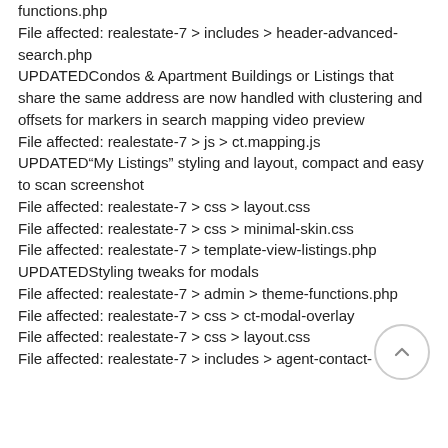functions.php
File affected: realestate-7 > includes > header-advanced-search.php
UPDATEDCondos & Apartment Buildings or Listings that share the same address are now handled with clustering and offsets for markers in search mapping video preview
File affected: realestate-7 > js > ct.mapping.js
UPDATED“My Listings” styling and layout, compact and easy to scan screenshot
File affected: realestate-7 > css > layout.css
File affected: realestate-7 > css > minimal-skin.css
File affected: realestate-7 > template-view-listings.php
UPDATEDStyling tweaks for modals
File affected: realestate-7 > admin > theme-functions.php
File affected: realestate-7 > css > ct-modal-overlay
File affected: realestate-7 > css > layout.css
File affected: realestate-7 > includes > agent-contact-